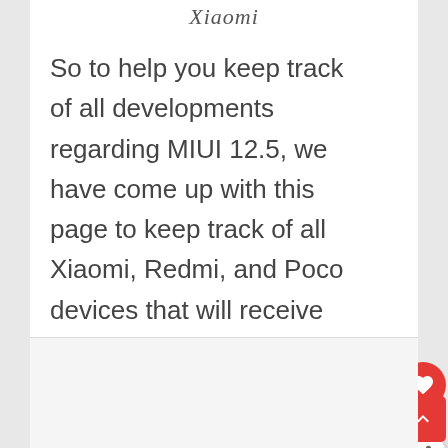Xiaomi
So to help you keep track of all developments regarding MIUI 12.5, we have come up with this page to keep track of all Xiaomi, Redmi, and Poco devices that will receive the stable MIUI 12.5 update.